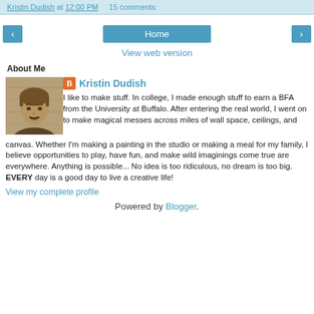Kristin Dudish at 12:00 PM   15 comments:
‹
Home
›
View web version
About Me
[Figure (photo): Sepia-toned photo of Kristin Dudish, a person with short hair, wearing a dark top, with a small drawn-on mustache, posed against a wooden background.]
Kristin Dudish
I like to make stuff. In college, I made enough stuff to earn a BFA from the University at Buffalo. After entering the real world, I went on to make magical messes across miles of wall space, ceilings, and canvas. Whether I'm making a painting in the studio or making a meal for my family, I believe opportunities to play, have fun, and make wild imaginings come true are everywhere. Anything is possible... No idea is too ridiculous, no dream is too big. EVERY day is a good day to live a creative life!
View my complete profile
Powered by Blogger.